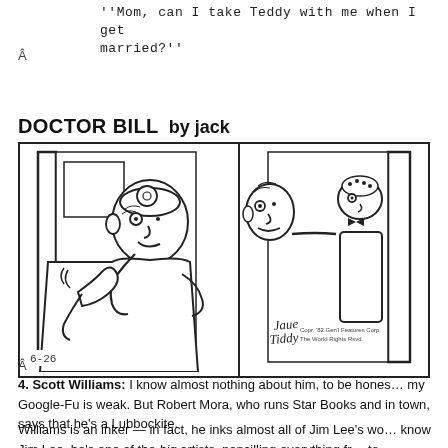"Mom, can I take Teddy with me when I get married?"
Â
[Figure (illustration): Doctor Bill comic strip panels. Left panel shows a doctor with a headband mirror and stethoscope answering a phone, dated 6-26. Right panel shows two figures at a door, with a signature and copyright notice reading 'Copr. '82 Gen'l Features Corp. The World Rights Rsvd.']
Â
4. Scott Williams: I know almost nothing about him, to be honest — my Google-Fu is weak. But Robert Mora, who runs Star Books and is in town, says that he's a Lubbockite.
Williams is an inker — in fact, he inks almost all of Jim Lee's work. If you know Jim Lee, he's one of the big artists, pencilling everything from to Superman and Batman, and he was one of the founders of